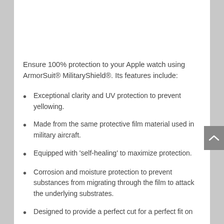Ensure 100% protection to your Apple watch using ArmorSuit® MilitaryShield®. Its features include:
Exceptional clarity and UV protection to prevent yellowing.
Made from the same protective film material used in military aircraft.
Equipped with 'self-healing' to maximize protection.
Corrosion and moisture protection to prevent substances from migrating through the film to attack the underlying substrates.
Designed to provide a perfect cut for a perfect fit on